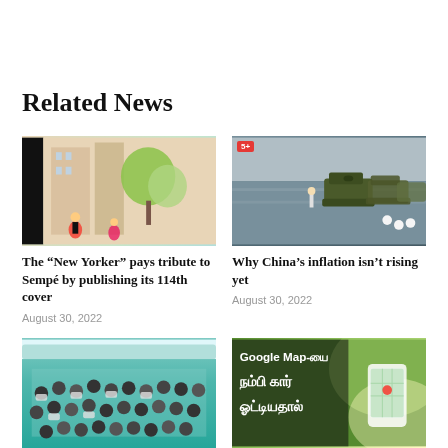Related News
[Figure (photo): Illustration in the style of Jean-Jacques Sempé showing whimsical city street scenes with figures]
[Figure (photo): Iconic Tiananmen Square Tank Man photograph showing a lone man standing before a line of tanks]
The “New Yorker” pays tribute to Sempé by publishing its 114th cover
August 30, 2022
Why China’s inflation isn’t rising yet
August 30, 2022
[Figure (photo): Crowded airplane cabin interior with passengers wearing masks]
[Figure (photo): Google Maps related article image with Tamil text overlay reading Google Map-யை நம்பி கார் ஒட்டியதால்]